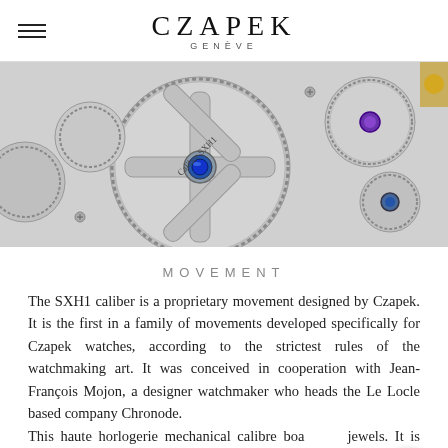CZAPEK GENÈVE
[Figure (photo): Close-up macro photograph of the Czapek SXH1 watch movement showing gears, jewels, and mechanical components in silver/steel tones with blue and purple accents]
MOVEMENT
The SXH1 caliber is a proprietary movement designed by Czapek. It is the first in a family of movements developed specifically for Czapek watches, according to the strictest rules of the watchmaking art. It was conceived in cooperation with Jean-François Mojon, a designer watchmaker who heads the Le Locle based company Chronode.
This haute horlogerie mechanical calibre boasts 31 jewels. It is finely decorated and remains aesthetically and functionally true to the 1850 original. The architecture